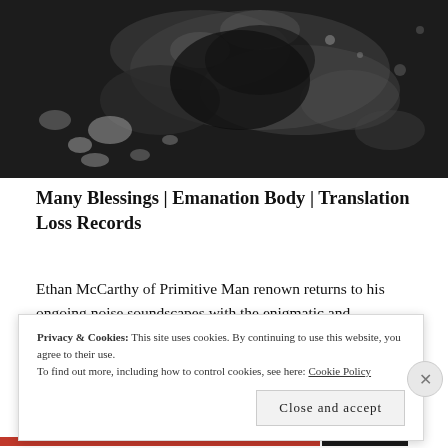[Figure (photo): Black and white close-up abstract photograph, dark tones with speckled light areas, appears to show a textured surface or landscape from above.]
Many Blessings | Emanation Body | Translation Loss Records
Ethan McCarthy of Primitive Man renown returns to his ongoing noise soundscapes with the enigmatic and forbidding Many Blessings. In typical fashion this set of five pieces stretches beyond what McCarthy has done with the project in the past. Throughout this album
Privacy & Cookies: This site uses cookies. By continuing to use this website, you agree to their use.
To find out more, including how to control cookies, see here: Cookie Policy
Close and accept